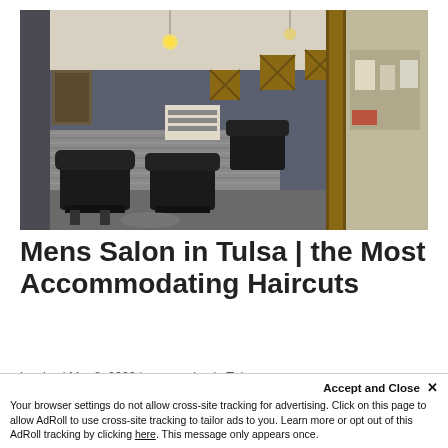[Figure (photo): Interior of a mens hair salon showing black barber/salon chairs, corrugated metal wainscoting on walls, rustic wooden beam frame on right side, wine crate wall decorations, hanging Edison bulb lights, and gray painted walls.]
Mens Salon in Tulsa | the Most Accommodating Haircuts
by clay | Mar 8, 2022 | mens salon in Tulsa
Accept and Close ✕
Your browser settings do not allow cross-site tracking for advertising. Click on this page to allow AdRoll to use cross-site tracking to tailor ads to you. Learn more or opt out of this AdRoll tracking by clicking here. This message only appears once.